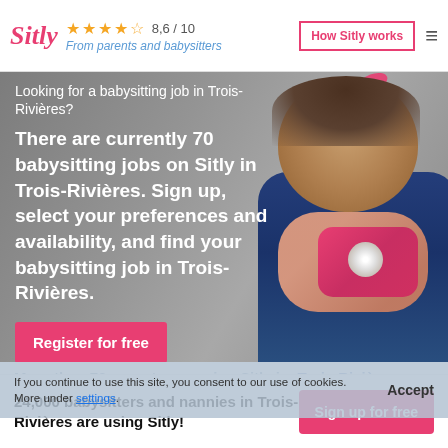Sitly — 8,6 / 10 — From parents and babysitters — How Sitly works
[Figure (photo): Baby girl holding a pink toy camera, wearing a navy blue outfit with a pink bow in her hair, photographed against a grey background]
Looking for a babysitting job in Trois-Rivières?
There are currently 70 babysitting jobs on Sitly in Trois-Rivières. Sign up, select your preferences and availability, and find your babysitting job in Trois-Rivières.
Register for free
How Sitly works
More than 70 parents are using Sitly in Trois-Rivières
If you continue to use this site, you consent to our use of cookies. More under settings.
24,000 babysitters and nannies in Trois-Rivières are using Sitly!
Sign up for free